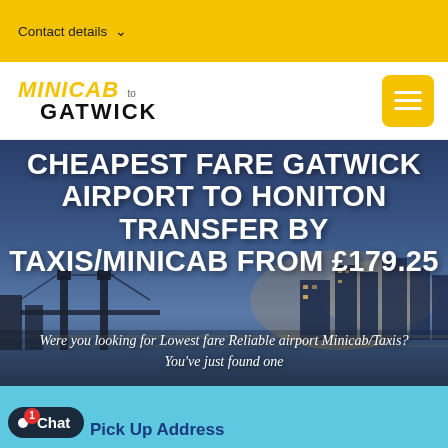Contact details ∨
[Figure (logo): Minicab to Gatwick logo with yellow italic MINICAB, small 'to', bold black GATWICK text, and yellow hamburger menu button]
[Figure (photo): Hero banner with London cityscape/Tower Bridge at dusk background, overlaid with white bold uppercase text: CHEAPEST FARE GATWICK AIRPORT TO HONITON TRANSFER BY TAXIS/MINICAB FROM £179.25, and italic subtitle: Were you looking for Lowest fare Reliable airport Minicab/Taxis? You've just found one]
CHEAPEST FARE GATWICK AIRPORT TO HONITON TRANSFER BY TAXIS/MINICAB FROM £179.25
Were you looking for Lowest fare Reliable airport Minicab/Taxis? You've just found one
Pick Up Address